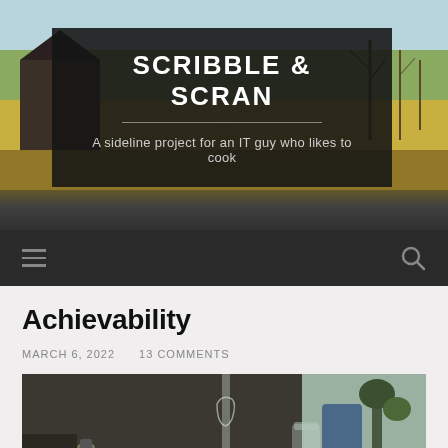SCRIBBLE & SCRAN
A sideline project for an IT guy who likes to cook
Achievability
MARCH 6, 2022    13 COMMENTS
[Figure (photo): Coffee and drinks on a cafe table with glasses, a carafe of water, and a dark coffee cup. A glass etching of a deer/fox is visible on a partition in the background.]